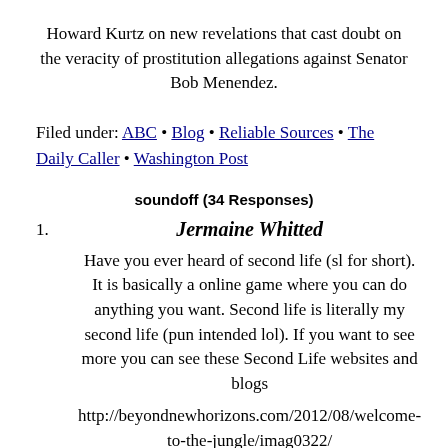Howard Kurtz on new revelations that cast doubt on the veracity of prostitution allegations against Senator Bob Menendez.
Filed under: ABC • Blog • Reliable Sources • The Daily Caller • Washington Post
soundoff (34 Responses)
1. Jermaine Whitted — Have you ever heard of second life (sl for short). It is basically a online game where you can do anything you want. Second life is literally my second life (pun intended lol). If you want to see more you can see these Second Life websites and blogs
http://beyondnewhorizons.com/2012/08/welcome-to-the-jungle/imag0322/
June 21, 2021 at 10:49 pm | Reply
2. Ben Willies — Have you ever heard of second life (sl for short). It is